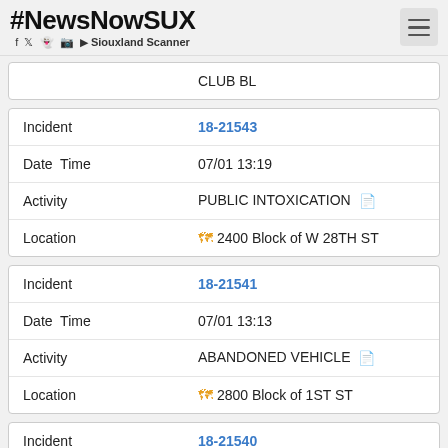#NewsNowSUX Siouxland Scanner
| Field | Value |
| --- | --- |
|  | CLUB BL |
| Field | Value |
| --- | --- |
| Incident | 18-21543 |
| Date  Time | 07/01 13:19 |
| Activity | PUBLIC INTOXICATION |
| Location | 2400 Block of W 28TH ST |
| Field | Value |
| --- | --- |
| Incident | 18-21541 |
| Date  Time | 07/01 13:13 |
| Activity | ABANDONED VEHICLE |
| Location | 2800 Block of 1ST ST |
| Field | Value |
| --- | --- |
| Incident | 18-21540 |
| Date  Time | 07/01 12:55 |
| Activity | DISTURBANCE |